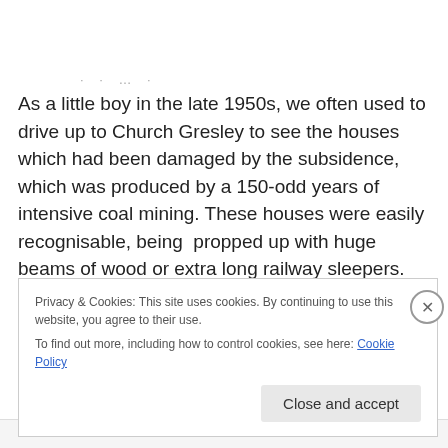As a little boy in the late 1950s, we often used to drive up to Church Gresley to see the houses which had been damaged by the subsidence, which was produced by a 150-odd years of intensive coal mining. These houses were easily recognisable, being  propped up with huge beams of wood or extra long railway sleepers. Here are some of the less serious supports in a picture from a 1949
Privacy & Cookies: This site uses cookies. By continuing to use this website, you agree to their use.
To find out more, including how to control cookies, see here: Cookie Policy
Close and accept